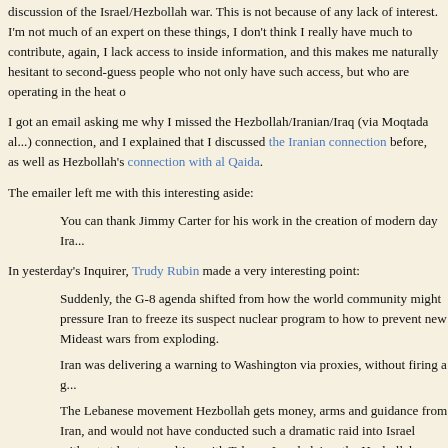discussion of the Israel/Hezbollah war. This is not because of any lack of interest. I'm not much of an expert on these things, I don't think I really have much to contribute, again, I lack access to inside information, and this makes me naturally hesitant to second-guess people who not only have such access, but who are operating in the heat of
I got an email asking me why I missed the Hezbollah/Iranian/Iraq (via Moqtada al...) connection, and I explained that I discussed the Iranian connection before, as well as Hezbollah's connection with al Qaida.
The emailer left me with this interesting aside:
You can thank Jimmy Carter for his work in the creation of modern day Ira...
In yesterday's Inquirer, Trudy Rubin made a very interesting point:
Suddenly, the G-8 agenda shifted from how the world community might pressure Iran to freeze its suspect nuclear program to how to prevent new Mideast wars from exploding.
Iran was delivering a warning to Washington via proxies, without firing a g...
The Lebanese movement Hezbollah gets money, arms and guidance from Iran, and would not have conducted such a dramatic raid into Israel without at least consulting with Tehran. Israel claims the Hezbollah rockets that hit H... came from Iran.
As for Gaza's Hamas, it has leaders in the Syrian capital, Damascus, where they can consult with visiting Iranian officials. Iranian President Mahmoud Ahmadinejad has been courting support with the "Arab street" (whose Sunni Arabs are normally hostile to Persian Shiite Muslims) by spouting hard-line rhetoric about Israel.
Meanwhile, thanks to the United States, Iran can exert powerful influence in Iraq, where Shiite parties allied to Iran now run the government, and in